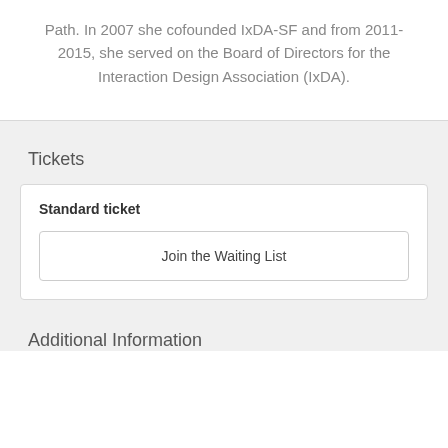Path. In 2007 she cofounded IxDA-SF and from 2011-2015, she served on the Board of Directors for the Interaction Design Association (IxDA).
Tickets
Standard ticket
Join the Waiting List
Additional Information